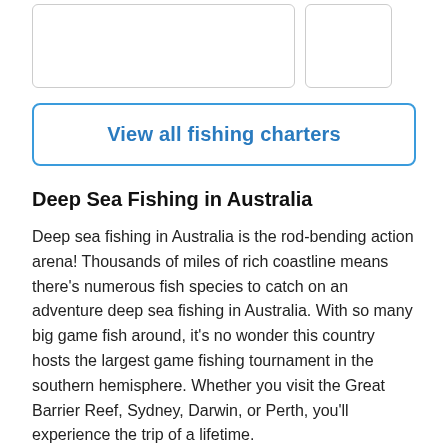[Figure (other): Partial view of two card-style image placeholders at the top of the page]
View all fishing charters
Deep Sea Fishing in Australia
Deep sea fishing in Australia is the rod-bending action arena! Thousands of miles of rich coastline means there’s numerous fish species to catch on an adventure deep sea fishing in Australia. With so many big game fish around, it’s no wonder this country hosts the largest game fishing tournament in the southern hemisphere. Whether you visit the Great Barrier Reef, Sydney, Darwin, or Perth, you'll experience the trip of a lifetime.
What to Catch